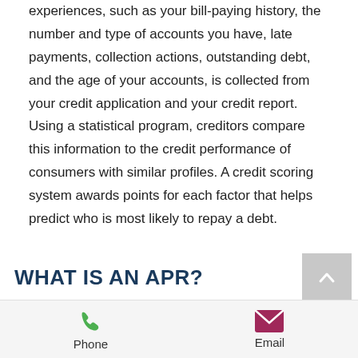experiences, such as your bill-paying history, the number and type of accounts you have, late payments, collection actions, outstanding debt, and the age of your accounts, is collected from your credit application and your credit report. Using a statistical program, creditors compare this information to the credit performance of consumers with similar profiles. A credit scoring system awards points for each factor that helps predict who is most likely to repay a debt.
WHAT IS AN APR?
The annual percentage rate (APR) is an interest
Phone   Email